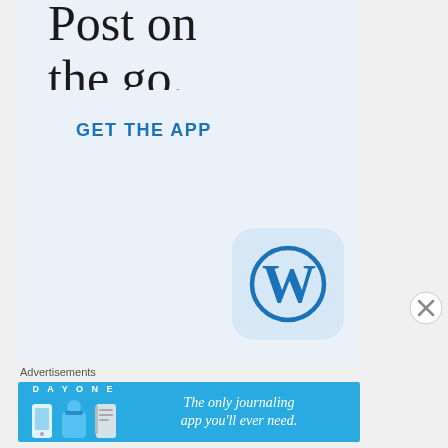Post on the go.
GET THE APP
[Figure (logo): WordPress app icon — rounded square with light blue background containing the WordPress 'W' logo in blue]
[Figure (other): Close/dismiss button — circle with X symbol]
Advertisements
[Figure (infographic): Day One journaling app advertisement banner. Text: DAY ONE — The only journaling app you'll ever need. Blue background with app icon illustrations.]